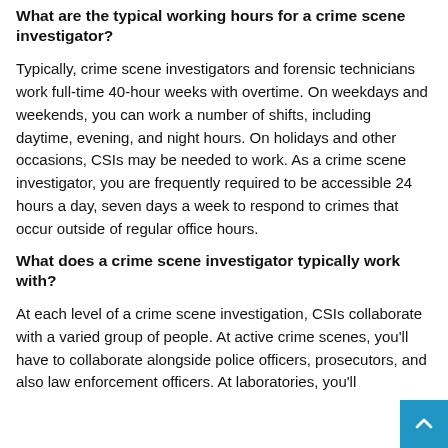What are the typical working hours for a crime scene investigator?
Typically, crime scene investigators and forensic technicians work full-time 40-hour weeks with overtime. On weekdays and weekends, you can work a number of shifts, including daytime, evening, and night hours. On holidays and other occasions, CSIs may be needed to work. As a crime scene investigator, you are frequently required to be accessible 24 hours a day, seven days a week to respond to crimes that occur outside of regular office hours.
What does a crime scene investigator typically work with?
At each level of a crime scene investigation, CSIs collaborate with a varied group of people. At active crime scenes, you'll have to collaborate alongside police officers, prosecutors, and also law enforcement officers. At laboratories, you'll